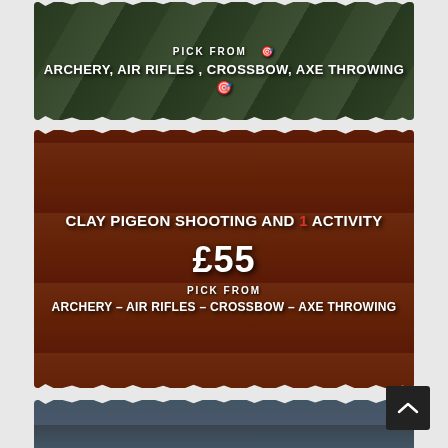[Figure (photo): Top card: Person with archery equipment outdoors, with target boards. Text overlay: PICK FROM ARCHERY, AIR RIFLES, CROSSBOW, AXE THROWING with target emoji icons]
[Figure (photo): Middle card: Stack of orange clay pigeon shooting discs on rack. Text overlay: CLAY PIGEON SHOOTING AND 1 ACTIVITY, £55, PICK FROM, ARCHERY - AIR RIFLES - CROSSBOW - AXE THROWING]
[Figure (photo): Bottom card: Group photo of women outdoors. Text overlay: CLAY PIGEON SHOOTING AND 2 ACTIVITY, £70, PICK FROM]